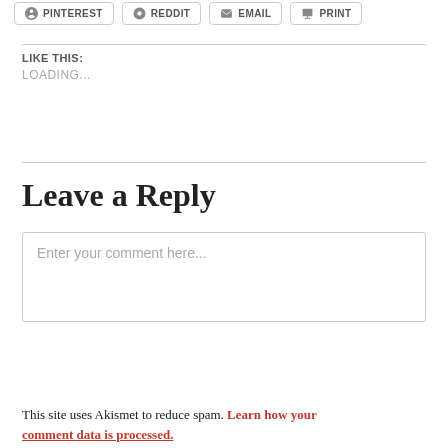[Figure (screenshot): Social share buttons row: Pinterest, Reddit, Email, Print]
LIKE THIS:
LOADING...
Leave a Reply
Enter your comment here...
This site uses Akismet to reduce spam. Learn how your comment data is processed.